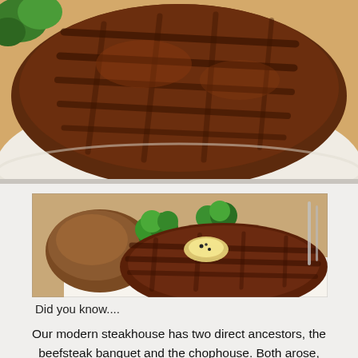[Figure (photo): Close-up photo of a grilled steak on a white plate, with grill marks visible on the surface, with green garnish in the background. Cropped at top and sides.]
[Figure (photo): Photo of a grilled ribeye steak served on a white plate with a baked potato, broccoli florets, and a dollop of butter on top of the steak. Restaurant setting.]
Did you know....
Our modern steakhouse has two direct ancestors, the beefsteak banquet and the chophouse. Both arose,